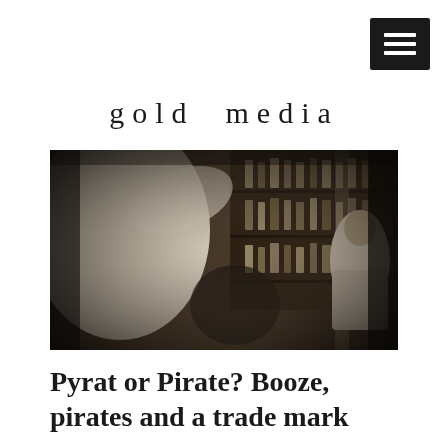[Figure (logo): Hamburger menu icon — three horizontal white lines on a dark square background, positioned top-right]
gold media
[Figure (photo): Black and white photograph of a bar scene: a blurred figure in the foreground wearing a white shirt, and a bartender in the background working behind a well-stocked bar shelf filled with bottles]
Pyrat or Pirate? Booze, pirates and a trade mark